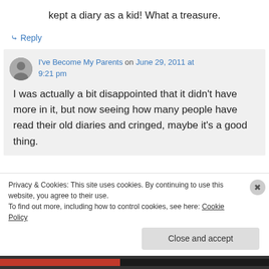kept a diary as a kid! What a treasure.
↳ Reply
I've Become My Parents on June 29, 2011 at 9:21 pm
I was actually a bit disappointed that it didn't have more in it, but now seeing how many people have read their old diaries and cringed, maybe it's a good thing.
Privacy & Cookies: This site uses cookies. By continuing to use this website, you agree to their use. To find out more, including how to control cookies, see here: Cookie Policy
Close and accept